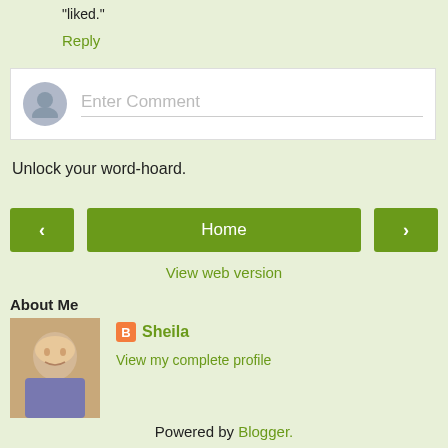"liked."
Reply
Enter Comment
Unlock your word-hoard.
Home
View web version
About Me
Sheila
View my complete profile
Powered by Blogger.